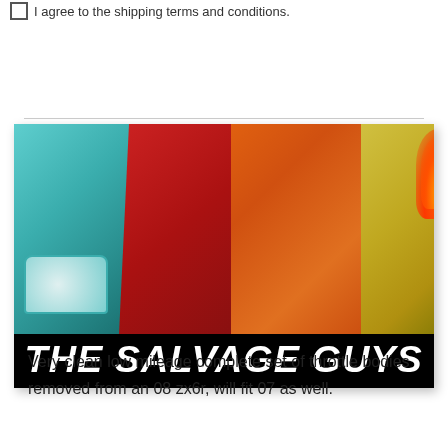I agree to the shipping terms and conditions.
[Figure (photo): Banner image for 'The Salvage Guys' showing four sports cars side by side: a teal Audi R8, a red Porsche 911, an orange Porsche 911, and a yellow Lamborghini on fire. Below the cars is a black banner with bold italic white text reading 'THE SALVAGE GUYS'.]
Very clean low mileage complete set of throttle bodies removed from an 08 zx6r, will fit 07 as well.